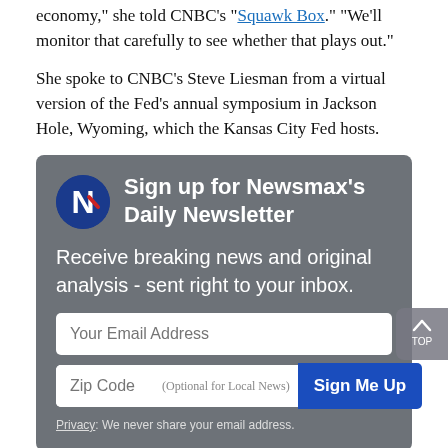economy," she told CNBC's "Squawk Box." "We'll monitor that carefully to see whether that plays out."
She spoke to CNBC's Steve Liesman from a virtual version of the Fed's annual symposium in Jackson Hole, Wyoming, which the Kansas City Fed hosts.
[Figure (infographic): Newsmax newsletter sign-up box with logo, title 'Sign up for Newsmax's Daily Newsletter', description text, email address field, zip code field with optional label, and Sign Me Up button.]
George did not indicate that the Fed has any plans to take